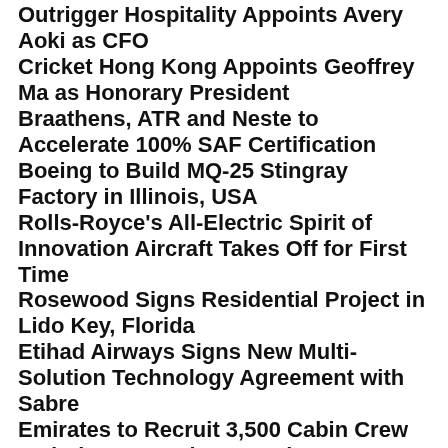Outrigger Hospitality Appoints Avery Aoki as CFO
Cricket Hong Kong Appoints Geoffrey Ma as Honorary President
Braathens, ATR and Neste to Accelerate 100% SAF Certification
Boeing to Build MQ-25 Stingray Factory in Illinois, USA
Rolls-Royce's All-Electric Spirit of Innovation Aircraft Takes Off for First Time
Rosewood Signs Residential Project in Lido Key, Florida
Etihad Airways Signs New Multi-Solution Technology Agreement with Sabre
Emirates to Recruit 3,500 Cabin Crew and Airport Services Employees
Susan Wheatley Returns to UK as DOSM of The